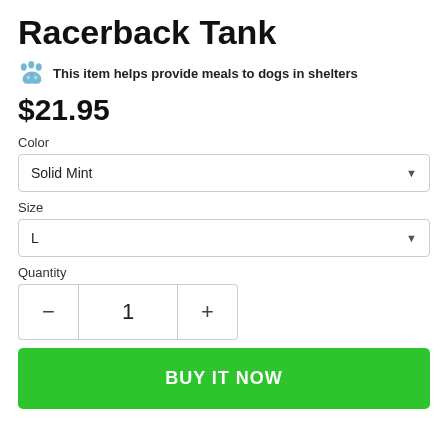Racerback Tank
🐾 This item helps provide meals to dogs in shelters
$21.95
Color
Solid Mint
Size
L
Quantity
- 1 +
BUY IT NOW